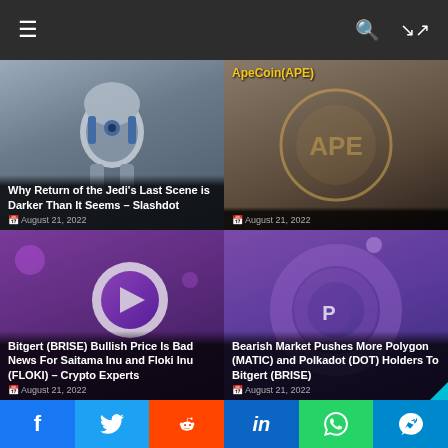Navigation header with menu, search, and shuffle icons
[Figure (screenshot): Article card: R2D2 robot image with title 'Why Return of the Jedi's Last Scene is Darker Than It Seems – Slashdot', dated August 21, 2022]
[Figure (screenshot): Article card: ApeCoin(APE) partial title visible, dated August 21, 2022]
[Figure (screenshot): Article card: Bitgert (BRISE) Bullish Price Is Bad News For Saitama Inu and Floki Inu (FLOKI) – Crypto Experts, dated August 21, 2022]
[Figure (screenshot): Article card: Bearish Market Pushes More Polygon (MATIC) and Polkadot (DOT) Holders To Bitgert (BRISE), dated August 21, 2022]
Social share bar: Facebook, Twitter, Reddit, LinkedIn, WhatsApp, Telegram